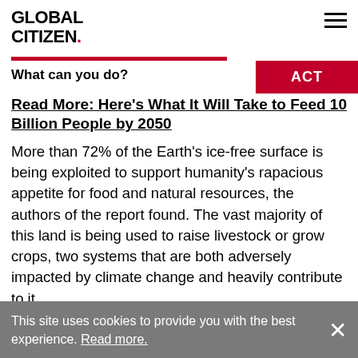GLOBAL CITIZEN.
What can you do?
Read More: Here's What It Will Take to Feed 10 Billion People by 2050
More than 72% of the Earth's ice-free surface is being exploited to support humanity's rapacious appetite for food and natural resources, the authors of the report found. The vast majority of this land is being used to raise livestock or grow crops, two systems that are both adversely impacted by climate change and heavily contribute to it.
This site uses cookies to provide you with the best experience. Read more.